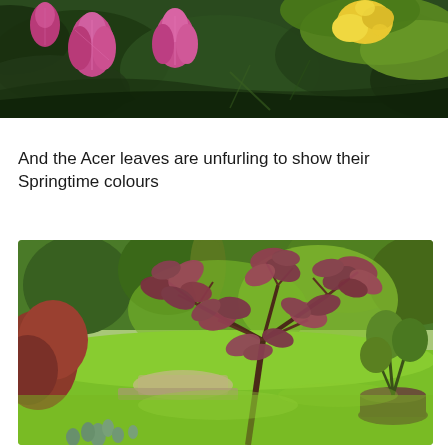[Figure (photo): Close-up photo of rhododendron flower buds in purple-pink and yellow, surrounded by large dark green leaves, taken outdoors in springtime.]
And the Acer leaves are unfurling to show their Springtime colours
[Figure (photo): Garden photo showing an Acer (Japanese maple) tree with reddish-purple spring leaves in the foreground, surrounded by lush green lawn, various shrubs and trees, blue flowers (bluebells) at the bottom, and a large pot with a plant on the right side.]